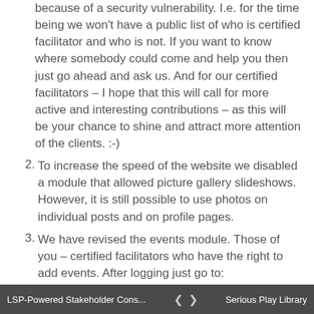because of a security vulnerability. I.e. for the time being we won't have a public list of who is certified facilitator and who is not. If you want to know where somebody could come and help you then just go ahead and ask us. And for our certified facilitators – I hope that this will call for more active and interesting contributions – as this will be your chance to shine and attract more attention of the clients. :-)
2. To increase the speed of the website we disabled a module that allowed picture gallery slideshows. However, it is still possible to use photos on individual posts and on profile pages.
3. We have revised the events module. Those of you – certified facilitators who have the right to add events. After logging just go to:
LSP-Powered Stakeholder Cons...   ‹ ›   Serious Play Library